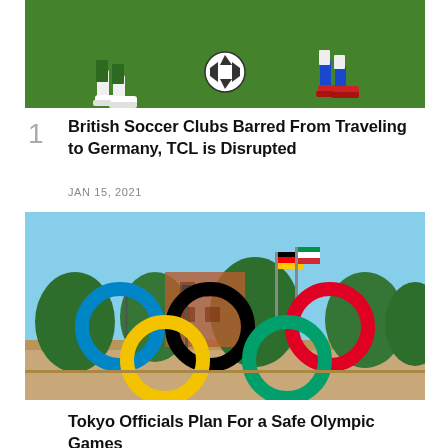[Figure (photo): Photo of soccer players' feet on green grass field with a soccer ball]
1
British Soccer Clubs Barred From Traveling to Germany, TCL is Disrupted
JAN 15, 2021
[Figure (photo): Photo of Olympic rings sculpture outdoors with trees and flags in the background under blue sky]
Tokyo Officials Plan For a Safe Olympic Games